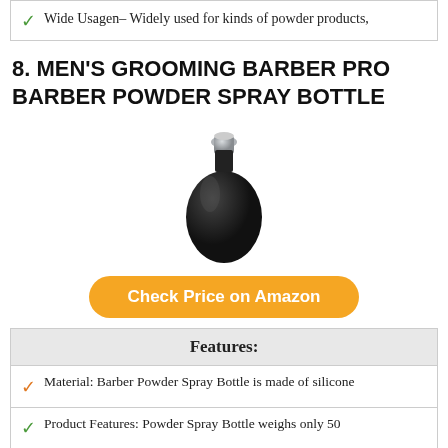Wide Usagen– Widely used for kinds of powder products,
8. MEN'S GROOMING BARBER PRO BARBER POWDER SPRAY BOTTLE
[Figure (photo): A black silicone powder spray bottle with a silver metallic nozzle tip, bulb-shaped body on a white background.]
Check Price on Amazon
Features:
Material: Barber Powder Spray Bottle is made of silicone
Product Features: Powder Spray Bottle weighs only 50